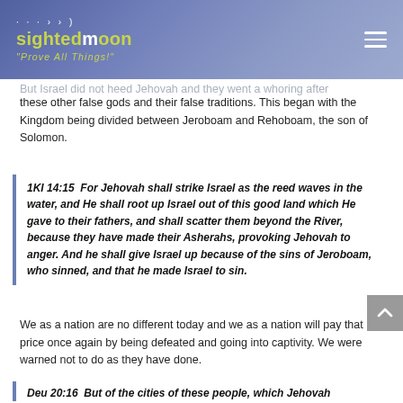sightedmoon "Prove All Things!"
But Israel did not heed Jehovah and they went a whoring after these other false gods and their false traditions. This began with the Kingdom being divided between Jeroboam and Rehoboam, the son of Solomon.
1KI 14:15  For Jehovah shall strike Israel as the reed waves in the water, and He shall root up Israel out of this good land which He gave to their fathers, and shall scatter them beyond the River, because they have made their Asherahs, provoking Jehovah to anger. And he shall give Israel up because of the sins of Jeroboam, who sinned, and that he made Israel to sin.
We as a nation are no different today and we as a nation will pay that price once again by being defeated and going into captivity. We were warned not to do as they have done.
Deu 20:16  But of the cities of these people, which Jehovah